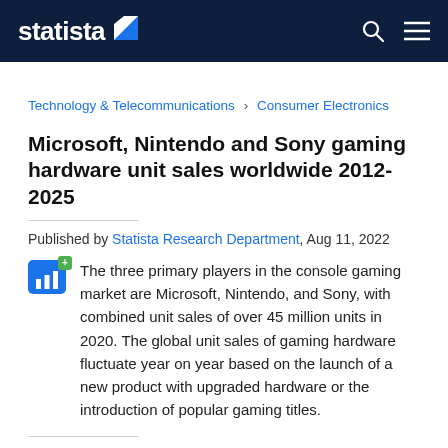statista
Technology & Telecommunications › Consumer Electronics
Microsoft, Nintendo and Sony gaming hardware unit sales worldwide 2012-2025
Published by Statista Research Department, Aug 11, 2022
The three primary players in the console gaming market are Microsoft, Nintendo, and Sony, with combined unit sales of over 45 million units in 2020. The global unit sales of gaming hardware fluctuate year on year based on the launch of a new product with upgraded hardware or the introduction of popular gaming titles.
Global console gaming hardware unit sales